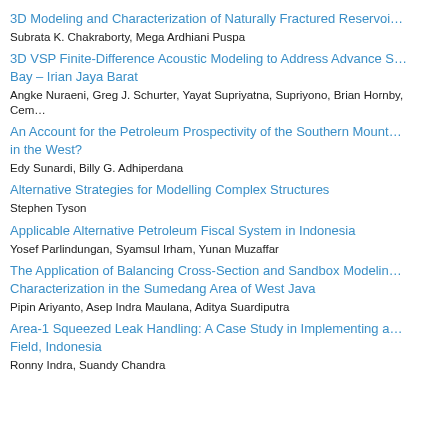3D Modeling and Characterization of Naturally Fractured Reservoi…
Subrata K. Chakraborty, Mega Ardhiani Puspa
3D VSP Finite-Difference Acoustic Modeling to Address Advance S… Bay – Irian Jaya Barat
Angke Nuraeni, Greg J. Schurter, Yayat Supriyatna, Supriyono, Brian Hornby, Cem…
An Account for the Petroleum Prospectivity of the Southern Mount… in the West?
Edy Sunardi, Billy G. Adhiperdana
Alternative Strategies for Modelling Complex Structures
Stephen Tyson
Applicable Alternative Petroleum Fiscal System in Indonesia
Yosef Parlindungan, Syamsul Irham, Yunan Muzaffar
The Application of Balancing Cross-Section and Sandbox Modelin… Characterization in the Sumedang Area of West Java
Pipin Ariyanto, Asep Indra Maulana, Aditya Suardiputra
Area-1 Squeezed Leak Handling: A Case Study in Implementing a… Field, Indonesia
Ronny Indra, Suandy Chandra